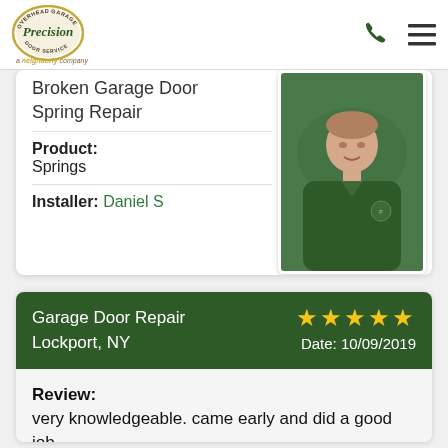[Figure (logo): Precision Overhead Garage Door Service logo - circular gold/brown badge with green text]
Broken Garage Door Spring Repair
Product: Springs
Installer: Daniel S
[Figure (photo): Technician photo - man in dark green Precision polo shirt smiling]
Garage Door Repair Lockport, NY
★★★★★ Date: 10/09/2019
Review:
very knowledgeable. came early and did a good job